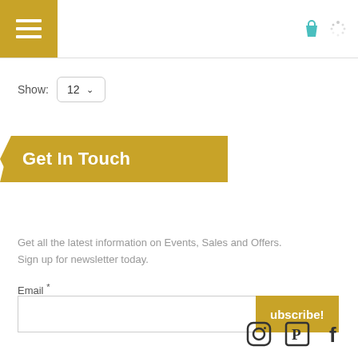[Figure (screenshot): Website header with gold hamburger menu button on left and teal shopping bag icon and spinner on right]
Show: 12
Get In Touch
Get all the latest information on Events, Sales and Offers.
Sign up for newsletter today.
Email *
ubscribe!
[Figure (illustration): Social media icons: Instagram, Pinterest, Facebook]